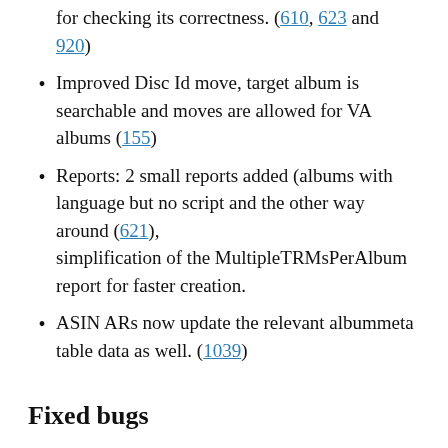for checking its correctness. (610, 623 and 920)
Improved Disc Id move, target album is searchable and moves are allowed for VA albums (155)
Reports: 2 small reports added (albums with language but no script and the other way around (621), simplification of the MultipleTRMsPerAlbum report for faster creation.
ASIN ARs now update the relevant albummeta table data as well. (1039)
Fixed bugs